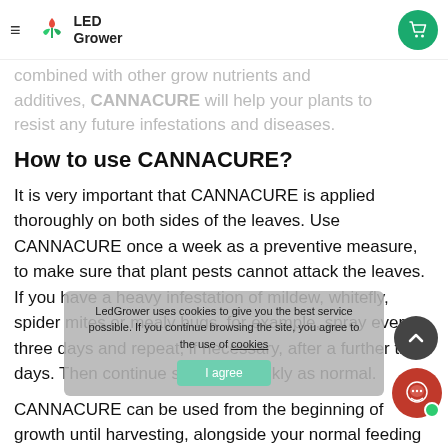LED Grower
combined with other grow nutrients and additives, CANNACURE will help your plants to resist any future infestations and diseases.
How to use CANNACURE?
It is very important that CANNACURE is applied thoroughly on both sides of the leaves. Use CANNACURE once a week as a preventive measure, to make sure that plant pests cannot attack the leaves. If you have a heavy infestation of mildew, whitefly, spider mites or mealy bugs, for example, spray every three days and repeat, if necessary, after a further three days. Then continue spraying weekly as normal.
CANNACURE can be used from the beginning of growth until harvesting, alongside your normal feeding routine.